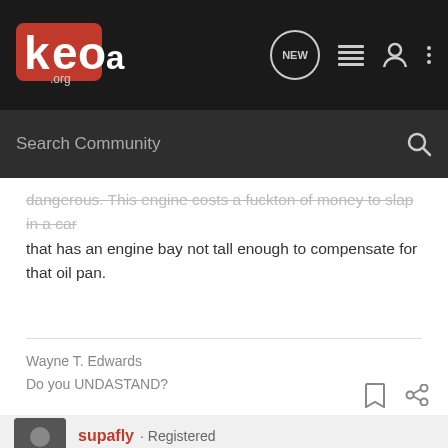[Figure (logo): KOA.org forum logo in red and white on dark background]
dangerous. This engine costs a fuckton of money to slap in a car that has an engine bay not tall enough to compensate for that oil pan.
Wayne T. Edwards
Do you UNDASTAND?
supafly · Registered
Joined Mar 14, 2004 · 929 Posts
Discussion Starter · #19 · May 12, 2004
understand that...